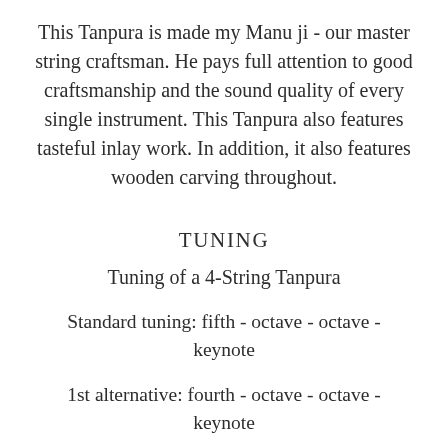This Tanpura is made my Manu ji - our master string craftsman. He pays full attention to good craftsmanship and the sound quality of every single instrument. This Tanpura also features tasteful inlay work. In addition, it also features wooden carving throughout.
TUNING
Tuning of a 4-String Tanpura
Standard tuning: fifth - octave - octave - keynote
1st alternative: fourth - octave - octave - keynote
2nd alternative: seventh - octave - octave